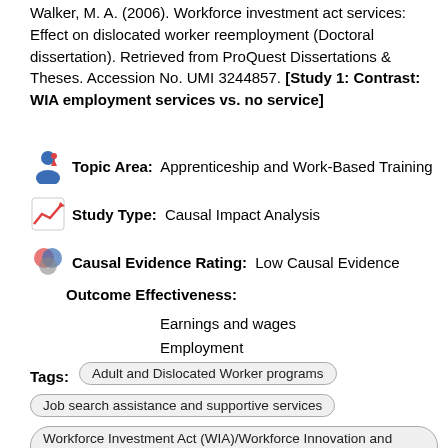Walker, M. A. (2006). Workforce investment act services: Effect on dislocated worker reemployment (Doctoral dissertation). Retrieved from ProQuest Dissertations & Theses. Accession No. UMI 3244857. [Study 1: Contrast: WIA employment services vs. no service]
Topic Area: Apprenticeship and Work-Based Training
Study Type: Causal Impact Analysis
Causal Evidence Rating: Low Causal Evidence
Outcome Effectiveness:
Earnings and wages
Employment
Tags: Adult and Dislocated Worker programs | Job search assistance and supportive services | Workforce Investment Act (WIA)/Workforce Innovation and Opportunity Act (WIOA)